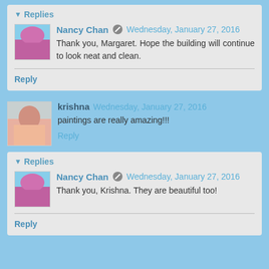Replies
Nancy Chan  Wednesday, January 27, 2016
Thank you, Margaret. Hope the building will continue to look neat and clean.
Reply
krishna  Wednesday, January 27, 2016
paintings are really amazing!!!
Reply
Replies
Nancy Chan  Wednesday, January 27, 2016
Thank you, Krishna. They are beautiful too!
Reply